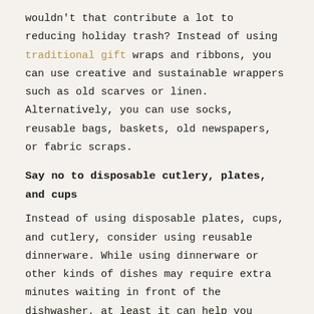wouldn't that contribute a lot to reducing holiday trash? Instead of using traditional gift wraps and ribbons, you can use creative and sustainable wrappers such as old scarves or linen. Alternatively, you can use socks, reusable bags, baskets, old newspapers, or fabric scraps.
Say no to disposable cutlery, plates, and cups
Instead of using disposable plates, cups, and cutlery, consider using reusable dinnerware. While using dinnerware or other kinds of dishes may require extra minutes waiting in front of the dishwasher, at least it can help you significantly reduce the volume of your trash.